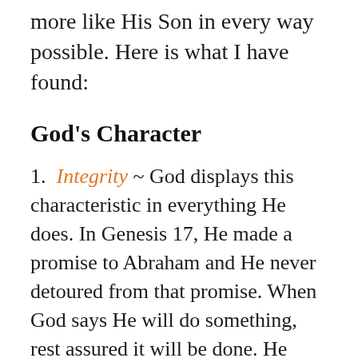more like His Son in every way possible. Here is what I have found:
God's Character
1. Integrity ~ God displays this characteristic in everything He does. In Genesis 17, He made a promise to Abraham and He never detoured from that promise. When God says He will do something, rest assured it will be done. He cannot lie